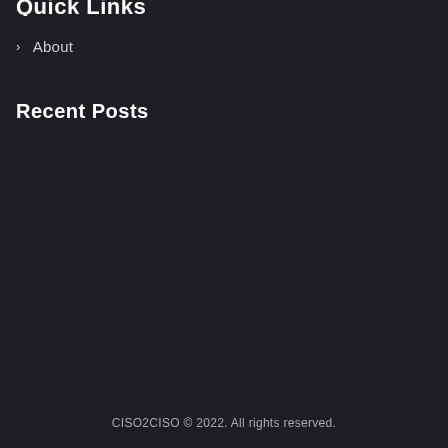Quick Links
About
Recent Posts
CISO2CISO © 2022. All rights reserved.